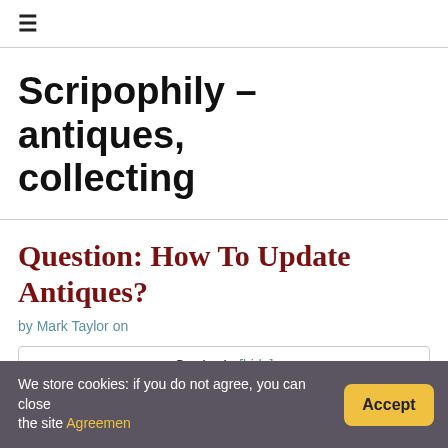≡
Scripophily – antiques, collecting
Question: How To Update Antiques?
by Mark Taylor on
| Contents [hide] |
| --- |
| 1 How do you modernize an antique? |
We store cookies: if you do not agree, you can close the site Agreement